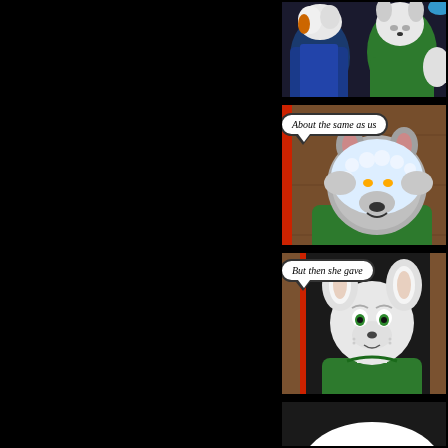[Figure (illustration): Comic strip page (partially visible, left half cropped to black). Right side shows 4 panels of an anthropomorphic furry comic. Panel 1: Two furry characters, one in blue and one in green shirt. Panel 2: A grey wolf/fox character in green shirt wiping face with a cloth/towel, speech bubble says 'About the same as us'. Panel 3: A white fox character in green shirt, speech bubble says 'But then she gave'. Panel 4: Partial panel showing beginning of another scene.]